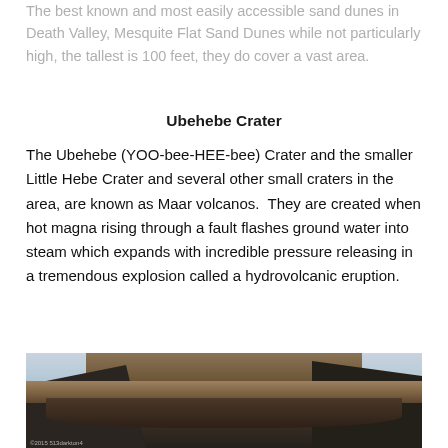The best known and most easily accessible sand dunes in Death Valley, Mesquite Flat Sand Dunes while not particularly high, the tallest is 100 feet, they do cover a vast area.
Ubehebe Crater
The Ubehebe (YOO-bee-HEE-bee) Crater and the smaller Little Hebe Crater and several other small craters in the area, are known as Maar volcanos.  They are created when hot magna rising through a fault flashes ground water into steam which expands with incredible pressure releasing in a tremendous explosion called a hydrovolcanic eruption.
[Figure (photo): Panoramic photograph of Ubehebe Crater showing the volcanic crater rim and bowl with layered rock walls in brown and dark tones, under a partly cloudy sky.]